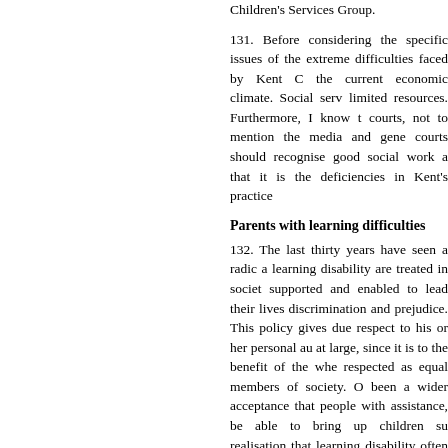Children's Services Group.
131. Before considering the specific issues of the extreme difficulties faced by Kent C the current economic climate. Social serv limited resources. Furthermore, I know t courts, not to mention the media and gene courts should recognise good social work a that it is the deficiencies in Kent's practice
Parents with learning difficulties
132. The last thirty years have seen a radic a learning disability are treated in societ supported and enabled to lead their lives discrimination and prejudice. This policy gives due respect to his or her personal au at large, since it is to the benefit of the wh respected as equal members of society. O been a wider acceptance that people with assistance, be able to bring up children su realisation that learning disability often go such disabilities are not afforded the hel modern life poses, particularly in certain a and the family.
133. To meet the particular difficulties enc a learning disability in the family, the ge Guidance on Working with Parents wi